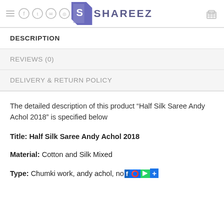SHAREEZ (website header with navigation icons and logo)
DESCRIPTION
REVIEWS (0)
DELIVERY & RETURN POLICY
The detailed description of this product “Half Silk Saree Andy Achol 2018” is specified below
Title: Half Silk Saree Andy Achol 2018
Material: Cotton and Silk Mixed
Type: Chumki work, andy achol, no…